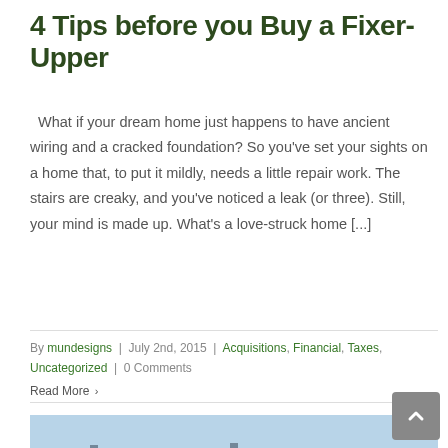4 Tips before you Buy a Fixer-Upper
What if your dream home just happens to have ancient wiring and a cracked foundation? So you've set your sights on a home that, to put it mildly, needs a little repair work. The stairs are creaky, and you've noticed a leak (or three). Still, your mind is made up. What's a love-struck home [...]
By mundesigns | July 2nd, 2015 | Acquisitions, Financial, Taxes, Uncategorized | 0 Comments
Read More >
[Figure (photo): Partial view of a building exterior with sky background, people visible at bottom]